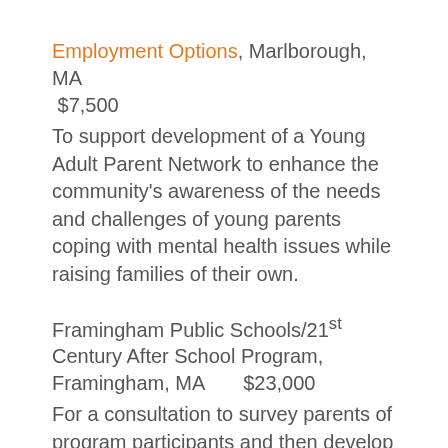Employment Options, Marlborough, MA
 $7,500
To support development of a Young Adult Parent Network to enhance the community's awareness of the needs and challenges of young parents coping with mental health issues while raising families of their own.
Framingham Public Schools/21st Century After School Program, Framingham, MA      $23,000
For a consultation to survey parents of program participants and then develop and pilot strategies to increase family involvement in the 21st Century Afterschool program as a means to